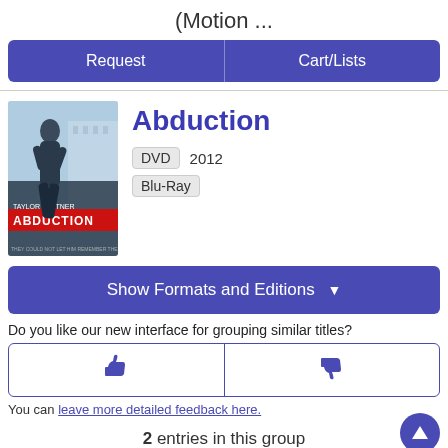(Motion ...
Request | Cart/Lists
Abduction
DVD  2012
Blu-Ray
Show Formats and Editions ▼
Do you like our new interface for grouping similar titles?
[Figure (illustration): Thumbs up icon button]
[Figure (illustration): Thumbs down icon button]
You can leave more detailed feedback here.
2 entries in this group